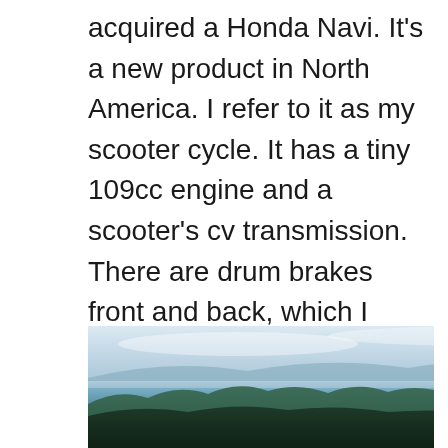acquired a Honda Navi. It's a new product in North America. I refer to it as my scooter cycle. It has a tiny 109cc engine and a scooter's cv transmission. There are drum brakes front and back, which I don't like. I do prefer crunching gears to relying solely on minimal brakes but life's always about a compromise. I suppose I can crack my skull well enough at 80 kmph as 140.
[Figure (photo): Scenic landscape photo showing a misty lake or bay with forested hills and mountains in the background under an overcast sky. A dark curved object (possibly part of a boat or structure) is visible in the lower right portion of the image.]